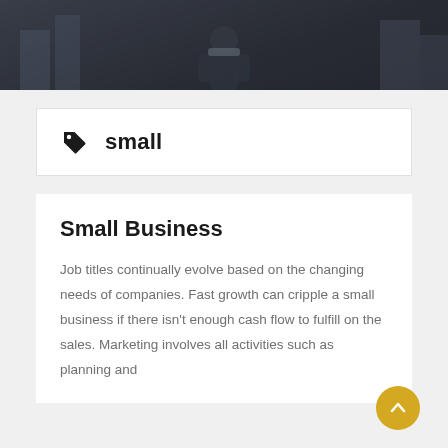[Figure (photo): Dark hero image showing a person in a business context, with a dark overlay creating a muted, moody atmosphere.]
small
Small Business
Job titles continually evolve based on the changing needs of companies. Fast growth can cripple a small business if there isn't enough cash flow to fulfill on the sales. Marketing involves all activities such as planning and